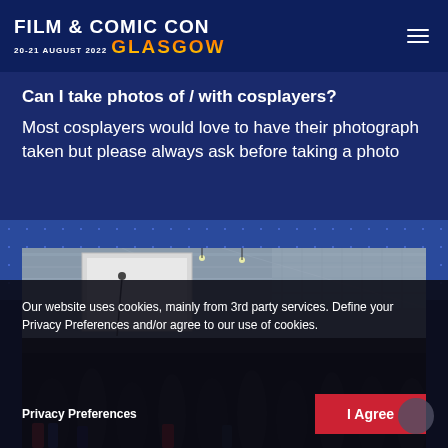FILM & COMIC CON 20-21 AUGUST 2022 GLASGOW
Can I take photos of / with cosplayers?
Most cosplayers would love to have their photograph taken but please always ask before taking a photo
[Figure (photo): Convention hall interior with a large display screen/banner visible, ornate ceiling structure with glass roof, and a crowd of people on the floor below, partially visible in the lower portion.]
Our website uses cookies, mainly from 3rd party services. Define your Privacy Preferences and/or agree to our use of cookies.
Privacy Preferences
I Agree